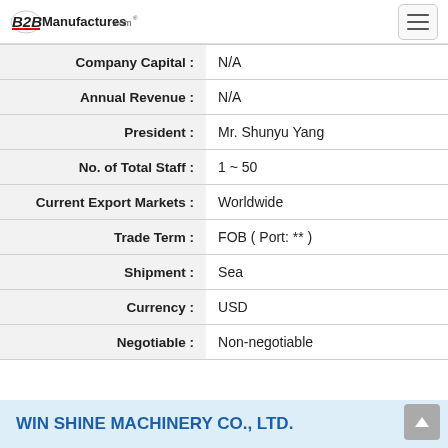B2BManufactures.com
| Field | Value |
| --- | --- |
| Company Capital : | N/A |
| Annual Revenue : | N/A |
| President : | Mr. Shunyu Yang |
| No. of Total Staff : | 1 ~ 50 |
| Current Export Markets : | Worldwide |
| Trade Term : | FOB ( Port: ** ) |
| Shipment : | Sea |
| Currency : | USD |
| Negotiable : | Non-negotiable |
WIN SHINE MACHINERY CO., LTD.